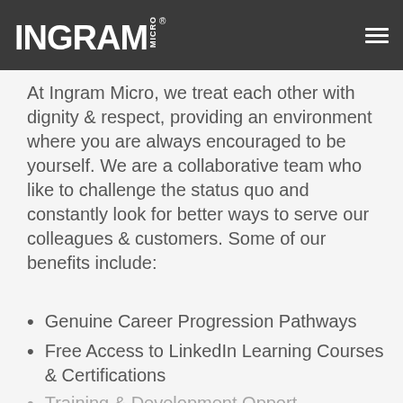INGRAM MICRO
At Ingram Micro, we treat each other with dignity & respect, providing an environment where you are always encouraged to be yourself. We are a collaborative team who like to challenge the status quo and constantly look for better ways to serve our colleagues & customers. Some of our benefits include:
Genuine Career Progression Pathways
Free Access to LinkedIn Learning Courses & Certifications
Training & Development Opportunities